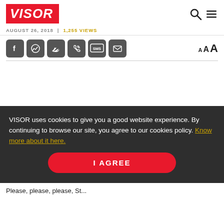[Figure (logo): VISOR logo in white italic bold text on red background]
AUGUST 26, 2018 | 1,255 VIEWS
[Figure (infographic): Social share buttons: Facebook, Messenger, Twitter, Phone/Viber, SMS, Email. Font size toggle: A A A on the right.]
VISOR uses cookies to give you a good website experience. By continuing to browse our site, you agree to our cookies policy. Know more about it here.
I AGREE
Please, please, please, St...